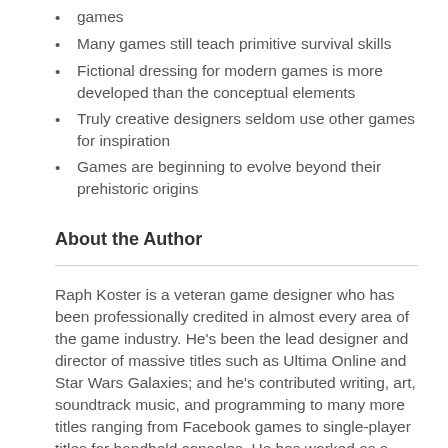games
Many games still teach primitive survival skills
Fictional dressing for modern games is more developed than the conceptual elements
Truly creative designers seldom use other games for inspiration
Games are beginning to evolve beyond their prehistoric origins
About the Author
Raph Koster is a veteran game designer who has been professionally credited in almost every area of the game industry. He's been the lead designer and director of massive titles such as Ultima Online and Star Wars Galaxies; and he's contributed writing, art, soundtrack music, and programming to many more titles ranging from Facebook games to single-player titles for handheld consoles. He has worked as a creative executive at Sony Online and Disney